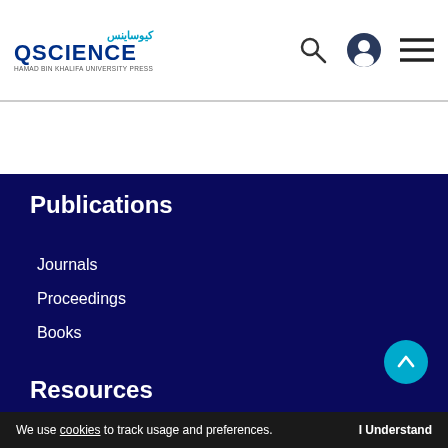[Figure (logo): QScience logo with Arabic text above, QSCIENCE in bold navy, and Hamad Bin Khalifa University Press subtitle]
[Figure (infographic): Navigation icons: search magnifying glass, user account circle, hamburger menu]
Publications
Journals
Proceedings
Books
Resources
We use cookies to track usage and preferences.   I Understand